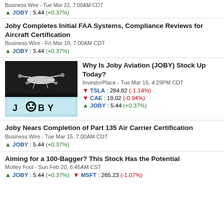Business Wire - Tue Mar 22, 7:00AM CDT
▲ JOBY : 5.44 (+0.37%)
Joby Completes Initial FAA Systems, Compliance Reviews for Aircraft Certification
Business Wire - Fri Mar 18, 7:00AM CDT
▲ JOBY : 5.44 (+0.37%)
[Figure (photo): Photo of Joby Aviation aircraft model on dark background with JOBY logo]
Why Is Joby Aviation (JOBY) Stock Up Today?
InvestorPlace - Tue Mar 15, 4:29PM CDT
▼ TSLA : 284.82 (-1.14%)
▼ CAE : 19.02 (-0.94%)
▲ JOBY : 5.44 (+0.37%)
Joby Nears Completion of Part 135 Air Carrier Certification
Business Wire - Tue Mar 15, 7:00AM CDT
▲ JOBY : 5.44 (+0.37%)
Aiming for a 100-Bagger? This Stock Has the Potential
Motley Fool - Sun Feb 20, 6:45AM CST
▲ JOBY : 5.44 (+0.37%)  ▼ MSFT : 265.23 (-1.07%)